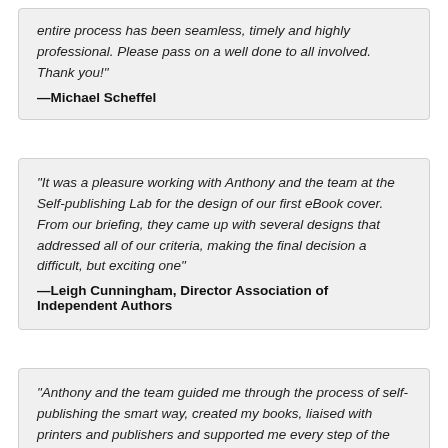entire process has been seamless, timely and highly professional. Please pass on a well done to all involved. Thank you!"
—Michael Scheffel
"It was a pleasure working with Anthony and the team at the Self-publishing Lab for the design of our first eBook cover. From our briefing, they came up with several designs that addressed all of our criteria, making the final decision a difficult, but exciting one"
—Leigh Cunningham, Director Association of Independent Authors
"Anthony and the team guided me through the process of self-publishing the smart way, created my books, liaised with printers and publishers and supported me every step of the way."